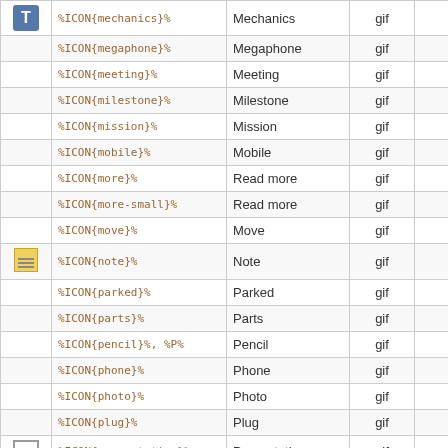|  | Code | Name | Type | Size |
| --- | --- | --- | --- | --- |
| [T] | %ICON{mechanics}% | Mechanics | gif | 16x16 |
|  | %ICON{megaphone}% | Megaphone | gif | 16x16 |
|  | %ICON{meeting}% | Meeting | gif | 16x16 |
|  | %ICON{milestone}% | Milestone | gif | 16x16 |
|  | %ICON{mission}% | Mission | gif | 16x16 |
|  | %ICON{mobile}% | Mobile | gif | 16x16 |
|  | %ICON{more}% | Read more | gif | 16x16 |
|  | %ICON{more-small}% | Read more | gif | 13x13 |
|  | %ICON{move}% | Move | gif | 16x16 |
| [note icon] | %ICON{note}% | Note | gif | 16x16 |
|  | %ICON{parked}% | Parked | gif | 16x16 |
|  | %ICON{parts}% | Parts | gif | 16x16 |
|  | %ICON{pencil}%, %P% | Pencil | gif | 16x16 |
|  | %ICON{phone}% | Phone | gif | 16x16 |
|  | %ICON{photo}% | Photo | gif | 13x10 |
|  | %ICON{plug}% | Plug | gif | 16x16 |
| [presentation icon] | %ICON{presentation}% | Presentation | gif | 16x16 |